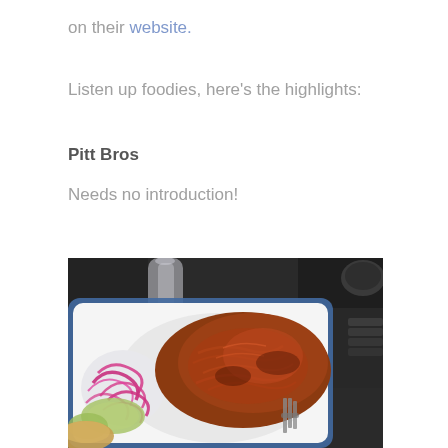on their website.
Listen up foodies, here's the highlights:
Pitt Bros
Needs no introduction!
[Figure (photo): Overhead photo of a pulled pork or BBQ meat dish served on a white enamel tray with blue rim, accompanied by pickled red cabbage slaw and sliced vegetables. A fork is visible in the meat. Background shows a dark table surface with a glass and stacked items.]